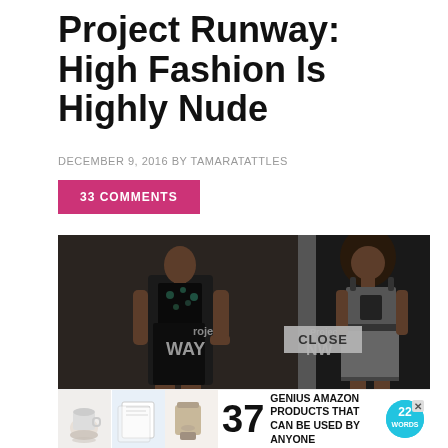Project Runway: High Fashion Is Highly Nude
DECEMBER 9, 2016 BY TAMARATATTLES
33 COMMENTS
[Figure (photo): Two models on the Project Runway runway. Left model wears a sleeveless black embellished mini dress. Right model wears a grey structured mini dress with spaghetti straps. Project Runway logo visible in background.]
[Figure (photo): Advertisement bar at bottom: thumbnails of kitchen/home items, large number 37, text 'GENIUS AMAZON PRODUCTS THAT CAN BE USED BY ANYONE', and a '22 Words' circular logo with an X close button.]